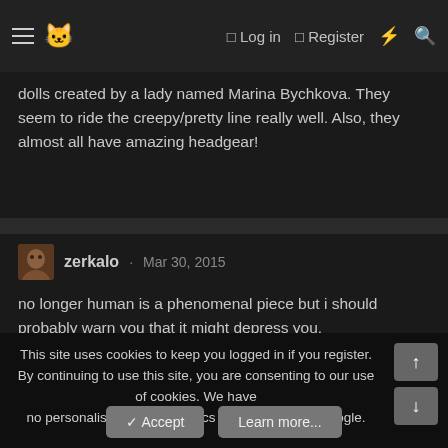≡ [cat icon] · Log in · Register · [lightning] · [search]
dolls created by a lady named Marina Bychkova. They seem to ride the creepy/pretty line really well. Also, they almost all have amazing headgear!
zerkalo · Mar 30, 2015
no longer human is a phenomenal piece but i should probably warn you that it might depress you.
for a newcomer, natsume soseki and kobo abe are probably great places to start
followed by osamu dazai and yukio mishima

i recommend woman in the dunes, it is loaded with mind boggling contemplation of the trappings of modern
This site uses cookies to keep you logged in if you register. By continuing to use this site, you are consenting to our use of cookies. We have no personalisation nor analytics --- especially no Google.